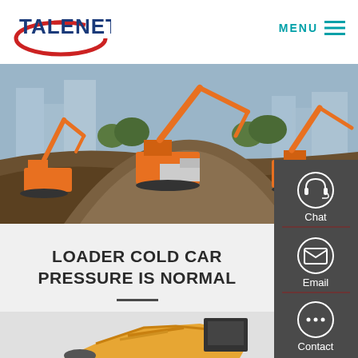[Figure (logo): Talenet logo with red oval swoosh and blue bold text TALENET]
MENU
[Figure (photo): Construction site with multiple orange excavators working on a dirt mound, city buildings and trees visible in background]
[Figure (infographic): Right side panel with Chat (headset icon), Email (envelope icon), and Contact (speech bubble icon) in dark gray background]
LOADER COLD CAR PRESSURE IS NORMAL
[Figure (photo): Yellow loader/excavator arm and cab visible at bottom of page against gray background]